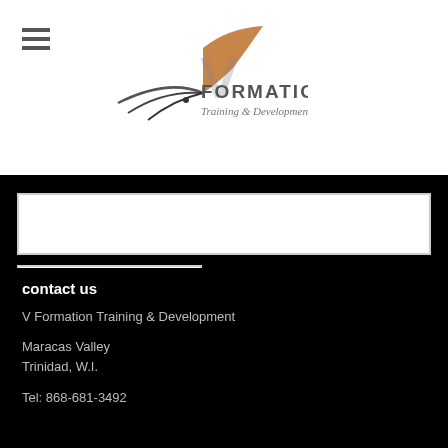[Figure (logo): V Formation Training & Development logo with stylized bird/V shape in brown and grey, with text 'FORMATION Training & Development']
[Figure (other): CAPTCHA image showing distorted text: n j s g V4 9]
SUBSCRIBE
contact us
V Formation Training & Development
Maracas Valley
Trinidad, W.I.
Tel: 868-681-3492